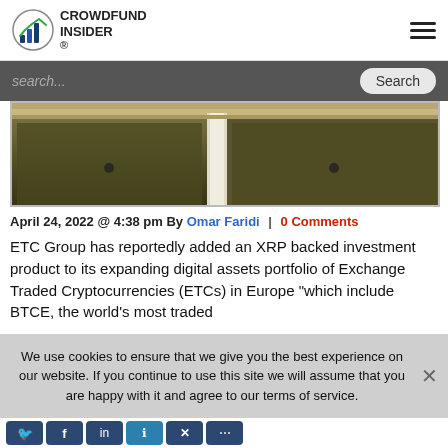CROWDFUND INSIDER
[Figure (screenshot): Search bar with dark grey background, placeholder text 'search...' and a 'Search' button on the right]
[Figure (photo): Industrial bins or containers viewed from above, with beige/tan colored dividers]
April 24, 2022 @ 4:38 pm By Omar Faridi | 0 Comments
ETC Group has reportedly added an XRP backed investment product to its expanding digital assets portfolio of Exchange Traded Cryptocurrencies (ETCs) in Europe "which include BTCE, the world's most traded cryptocurrency Exchange Traded Product (ETP), ETCH... which claims to be one of Europe's leading..." Read More
We use cookies to ensure that we give you the best experience on our website. If you continue to use this site we will assume that you are happy with it and agree to our terms of service.